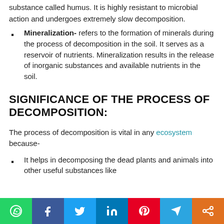substance called humus. It is highly resistant to microbial action and undergoes extremely slow decomposition.
Mineralization- refers to the formation of minerals during the process of decomposition in the soil. It serves as a reservoir of nutrients. Mineralization results in the release of inorganic substances and available nutrients in the soil.
SIGNIFICANCE OF THE PROCESS OF DECOMPOSITION:
The process of decomposition is vital in any ecosystem because-
It helps in decomposing the dead plants and animals into other useful substances like